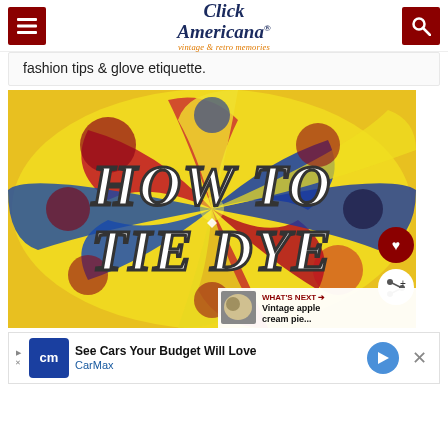Click Americana — vintage & retro memories
fashion tips & glove etiquette.
[Figure (photo): Tie-dye swirl background image with bold retro text reading 'HOW TO TIE DYE']
WHAT'S NEXT → Vintage apple cream pie...
See Cars Your Budget Will Love CarMax